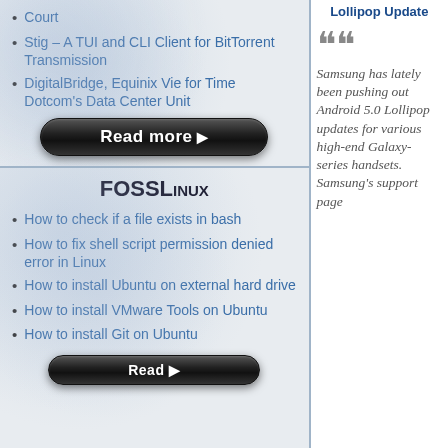Court
Stig – A TUI and CLI Client for BitTorrent Transmission
DigitalBridge, Equinix Vie for Time Dotcom's Data Center Unit
[Figure (other): Black rounded 'Read more ▶' button]
FOSSLinux
How to check if a file exists in bash
How to fix shell script permission denied error in Linux
How to install Ubuntu on external hard drive
How to install VMware Tools on Ubuntu
How to install Git on Ubuntu
Lollipop Update
Samsung has lately been pushing out Android 5.0 Lollipop updates for various high-end Galaxy-series handsets. Samsung's support page